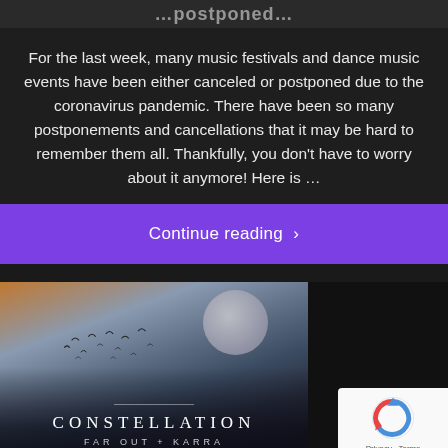...postponed...
For the last week, many music festivals and dance music events have been either canceled or postponed due to the coronavirus pandemic. There have been so many postponements and cancellations that it may be hard to remember them all. Thankfully, you don't have to worry about it anymore! Here is ...
Continue reading  >
[Figure (illustration): Album art for 'Constellation' by Far Out + Karra, showing a dramatic fantasy landscape with a large moon, misty mountains/cliffs, birds in flight, and moody sky. Title 'CONSTELLATION' and artist 'FAR OUT + KARRA' displayed at bottom.]
[Figure (logo): Google reCAPTCHA badge showing the reCAPTCHA logo (blue/red arrow circle) with Privacy and Terms links below.]